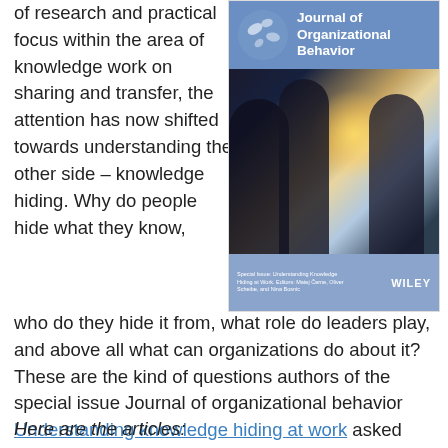of research and practical focus within the area of knowledge work on sharing and transfer, the attention has now shifted towards understanding the other side – knowledge hiding. Why do people hide what they know,
[Figure (photo): Cover of the Journal of Organizational Behavior special issue, showing silhouettes of people against a bright background, with the journal title in the blue header and WILEY branding at the bottom.]
who do they hide it from, what role do leaders play, and above all what can organizations do about it? These are the kind of questions authors of the special issue Journal of organizational behavior Understanding knowledge hiding at work asked themselves.
Here are the articles: